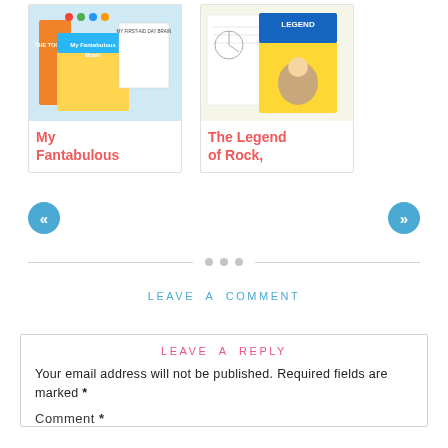[Figure (illustration): Book cover thumbnail for 'My Fantabulous Brain' showing colorful educational materials]
My Fantabulous
[Figure (illustration): Book cover thumbnail for 'The Legend of Rock,' showing colorful book and worksheets]
The Legend of Rock,
«
»
LEAVE A COMMENT
LEAVE A REPLY
Your email address will not be published. Required fields are marked *
Comment *